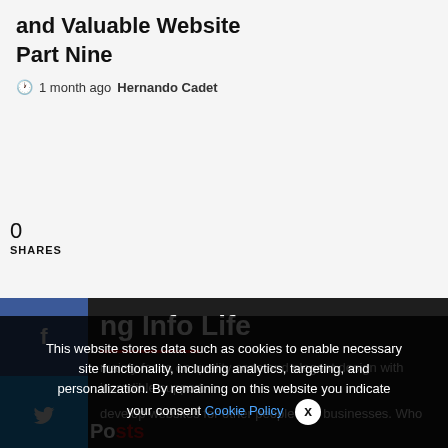and Valuable Website Part Nine
1 month ago  Hernando Cadet
0
SHARES
ng Info Life
mainly focus on quality code and elegant design with incredible support.
develop websites for other people and businesses. Who
This website stores data such as cookies to enable necessary site functionality, including analytics, targeting, and personalization. By remaining on this website you indicate your consent Cookie Policy
Popular Posts